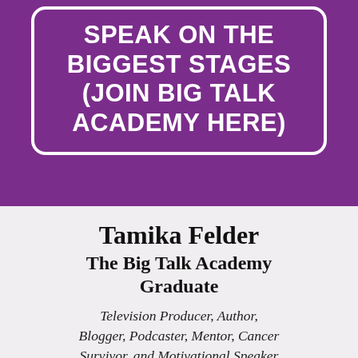SPEAK ON THE BIGGEST STAGES (JOIN BIG TALK ACADEMY HERE)
Tamika Felder
The Big Talk Academy Graduate
Television Producer, Author, Blogger, Podcaster, Mentor, Cancer Survivor, and Motivational Speaker